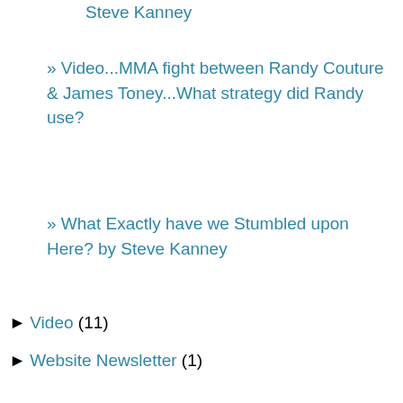Steve Kanney
» Video...MMA fight between Randy Couture & James Toney...What strategy did Randy use?
» What Exactly have we Stumbled upon Here? by Steve Kanney
► Video (11)
► Website Newsletter (1)